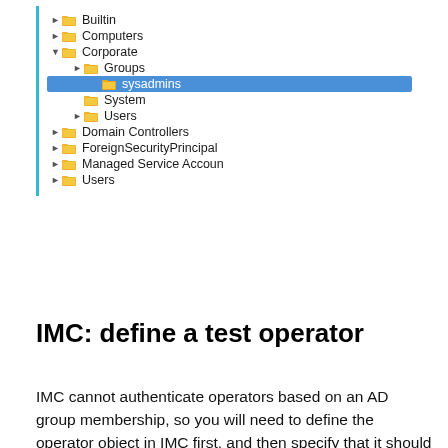[Figure (screenshot): Windows Active Directory tree view showing folder hierarchy: Builtin, Computers, Corporate (expanded showing Groups > sysadmins highlighted, System, Users), Domain Controllers, ForeignSecurityPrincipals, Managed Service Accounts, Users]
IMC: define a test operator
IMC cannot authenticate operators based on an AD group membership, so you will need to define the operator object in IMC first, and then specify that it should be authenticated using the LDAP server.
In IMC, navigate to System > Operator Management > Operators
Define a new operator, make sure the operator name is